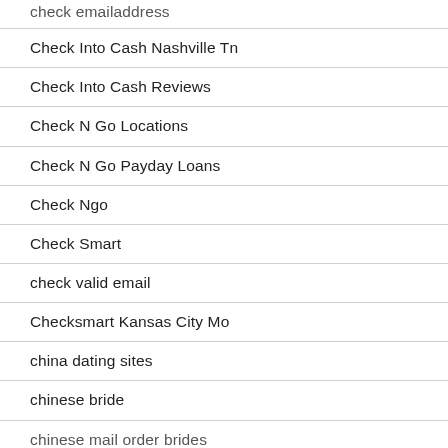check emailaddress
Check Into Cash Nashville Tn
Check Into Cash Reviews
Check N Go Locations
Check N Go Payday Loans
Check Ngo
Check Smart
check valid email
Checksmart Kansas City Mo
china dating sites
chinese bride
chinese mail order brides